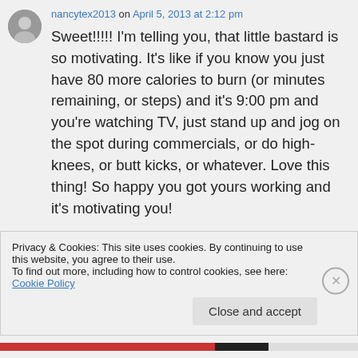[Figure (photo): Circular avatar image of user nancytex2013]
nancytex2013 on April 5, 2013 at 2:12 pm
Sweet!!!!! I'm telling you, that little bastard is so motivating. It's like if you know you just have 80 more calories to burn (or minutes remaining, or steps) and it's 9:00 pm and you're watching TV, just stand up and jog on the spot during commercials, or do high-knees, or butt kicks, or whatever. Love this thing! So happy you got yours working and it's motivating you!
Privacy & Cookies: This site uses cookies. By continuing to use this website, you agree to their use.
To find out more, including how to control cookies, see here: Cookie Policy
Close and accept